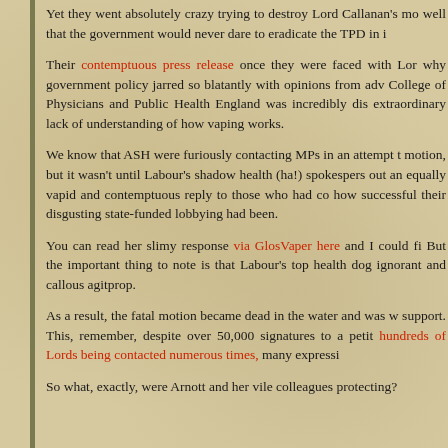Yet they went absolutely crazy trying to destroy Lord Callanan's mo... well that the government would never dare to eradicate the TPD in i...
Their contemptuous press release once they were faced with Lor... why government policy jarred so blatantly with opinions from adv... College of Physicians and Public Health England was incredibly dis... extraordinary lack of understanding of how vaping works.
We know that ASH were furiously contacting MPs in an attempt t... motion, but it wasn't until Labour's shadow health (ha!) spokespers... out an equally vapid and contemptuous reply to those who had co... how successful their disgusting state-funded lobbying had been.
You can read her slimy response via GlosVaper here and I could fi... But the important thing to note is that Labour's top health dog ... ignorant and callous agitprop.
As a result, the fatal motion became dead in the water and was w... support. This, remember, despite over 50,000 signatures to a petit... hundreds of Lords being contacted numerous times, many expressin...
So what, exactly, were Arnott and her vile colleagues protecting?